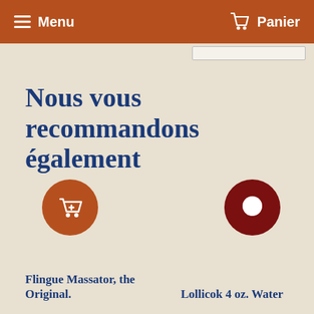Menu   Panier
Nous vous recommandons également
Fli... tongue Massator, the Original.
Lollicok 4 oz. Water